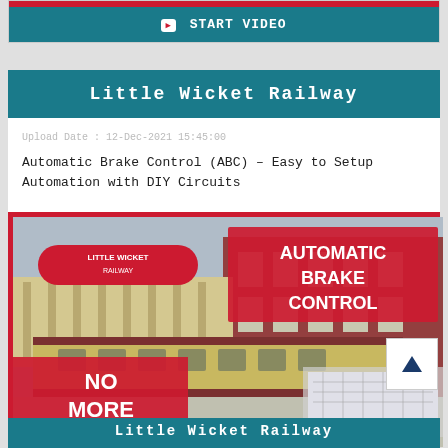[Figure (screenshot): Top of a previous video card showing a red bar and a teal START VIDEO button bar]
Little Wicket Railway
Upload Date : 12-Dec-2021 15:45:00
Automatic Brake Control (ABC) - Easy to Setup Automation with DIY Circuits
[Figure (photo): YouTube video thumbnail showing a model railway scene at a station with text overlays: LITTLE WICKET RAILWAY logo, AUTOMATIC BRAKE CONTROL in white on red, NO MORE CRASHES in white on red, and a keyboard/electronics on the right side]
START VIDEO
Little Wicket Railway (partial, bottom)